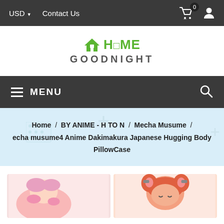USD ▼   Contact Us
[Figure (logo): Home Goodnight logo with house icon in green and text GOODNIGHT in dark gray]
≡ MENU
Home / BY ANIME - H TO N / Mecha Musume / echa musume4 Anime Dakimakura Japanese Hugging Body PillowCase
[Figure (photo): Two anime-style pillow case product images side by side]